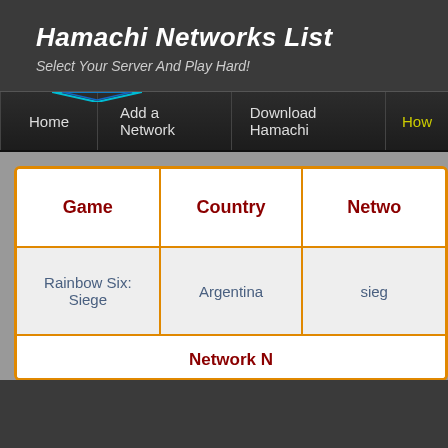Hamachi Networks List
Select Your Server And Play Hard!
Home | Add a Network | Download Hamachi | How
| Game | Country | Network |
| --- | --- | --- |
| Rainbow Six: Siege | Argentina | sieg... |
| Network D... |  |  |